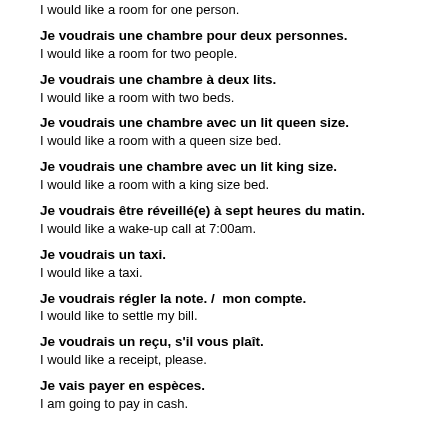I would like a room for one person. (partial, top)
Je voudrais une chambre pour deux personnes.
I would like a room for two people.
Je voudrais une chambre à deux lits.
I would like a room with two beds.
Je voudrais une chambre avec un lit queen size.
I would like a room with a queen size bed.
Je voudrais une chambre avec un lit king size.
I would like a room with a king size bed.
Je voudrais être réveillé(e) à sept heures du matin.
I would like a wake-up call at 7:00am.
Je voudrais un taxi.
I would like a taxi.
Je voudrais régler la note. /  mon compte.
I would like to settle my bill.
Je voudrais un reçu, s'il vous plaît.
I would like a receipt, please.
Je vais payer en espèces.
I am going to pay in cash.